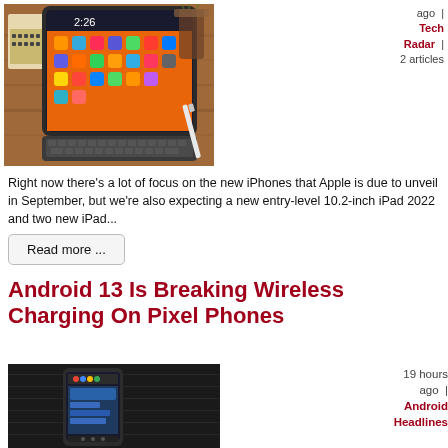[Figure (photo): iPad with Smart Keyboard and Apple Pencil on a wooden desk]
ago | Tech Radar | 2 articles
Right now there's a lot of focus on the new iPhones that Apple is due to unveil in September, but we're also expecting a new entry-level 10.2-inch iPad 2022 and two new iPad...
Read more ...
Android 13 Is Breaking Wireless Charging On Pixel Phones
[Figure (photo): Google Pixel phone on dark fabric surface]
19 hours ago | Android Headlines